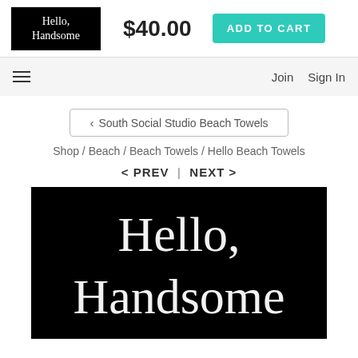[Figure (logo): Black rectangle with 'Hello Handsome' written in white cursive script]
$40.00
ADD TO CART
≡   Join  Sign In
< South Social Studio Beach Towels
Shop / Beach / Beach Towels / Hello Beach Towels
< PREV  |  NEXT >
[Figure (photo): Black beach towel with 'Hello, Handsome' written in white cursive/chalk script]